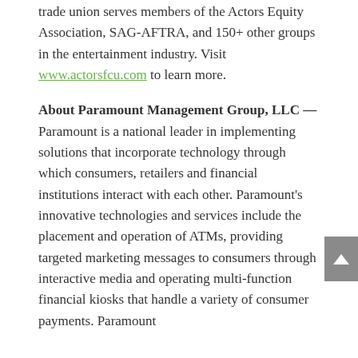trade union serves members of the Actors Equity Association, SAG-AFTRA, and 150+ other groups in the entertainment industry. Visit www.actorsfcu.com to learn more.
About Paramount Management Group, LLC —
Paramount is a national leader in implementing solutions that incorporate technology through which consumers, retailers and financial institutions interact with each other. Paramount's innovative technologies and services include the placement and operation of ATMs, providing targeted marketing messages to consumers through interactive media and operating multi-function financial kiosks that handle a variety of consumer payments. Paramount